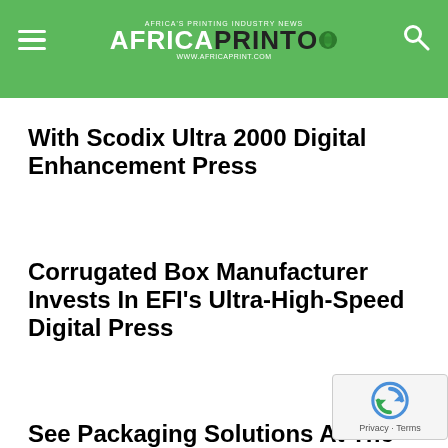Africa Print - AFRICAPRINT
With Scodix Ultra 2000 Digital Enhancement Press
Corrugated Box Manufacturer Invests In EFI's Ultra-High-Speed Digital Press
See Packaging Solutions At The Graphics, Print And Sign Expo
Lecta Releases Paperboard Range For Offset, Flexo And Digital Printing
Kalideck Launches Converting Digital...